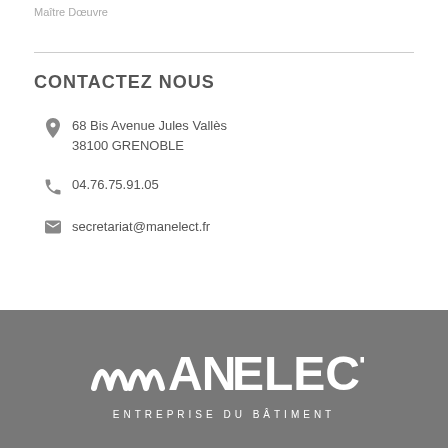Maître Dœuvre
CONTACTEZ NOUS
68 Bis Avenue Jules Vallès
38100 GRENOBLE
04.76.75.91.05
secretariat@manelect.fr
[Figure (logo): MANELECT logo in white on grey background with text ENTREPRISE DU BÂTIMENT below]